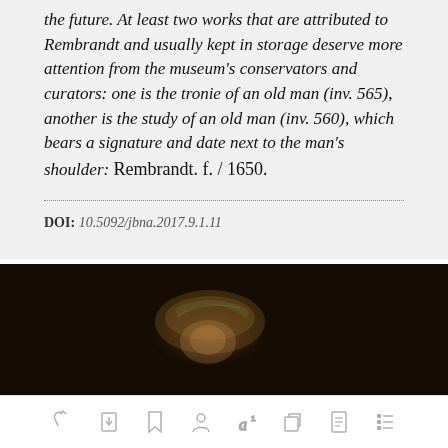the future. At least two works that are attributed to Rembrandt and usually kept in storage deserve more attention from the museum's conservators and curators: one is the tronie of an old man (inv. 565), another is the study of an old man (inv. 560), which bears a signature and date next to the man's shoulder: Rembrandt. f. / 1650.
DOI: 10.5092/jbna.2017.9.1.11
[Figure (photo): Dark painting showing a partially illuminated figure, likely a Rembrandt portrait of an old man, with warm amber/golden tones against a very dark background.]
[Figure (other): Toolbar with icons: share, bookmark-download, bookmark, person, italic-a with superscript 1, copy, document, list]